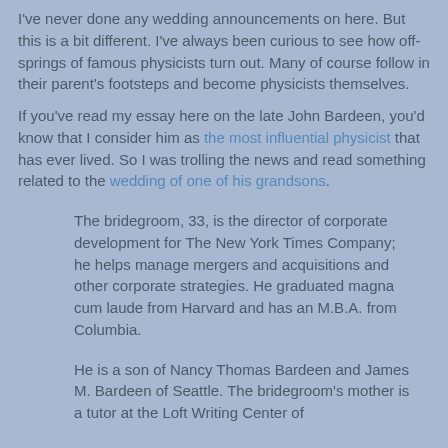I've never done any wedding announcements on here. But this is a bit different. I've always been curious to see how offsprings of famous physicists turn out. Many of course follow in their parent's footsteps and become physicists themselves.
If you've read my essay here on the late John Bardeen, you'd know that I consider him as the most influential physicist that has ever lived. So I was trolling the news and read something related to the wedding of one of his grandsons.
The bridegroom, 33, is the director of corporate development for The New York Times Company; he helps manage mergers and acquisitions and other corporate strategies. He graduated magna cum laude from Harvard and has an M.B.A. from Columbia.
He is a son of Nancy Thomas Bardeen and James M. Bardeen of Seattle. The bridegroom's mother is a tutor at the Loft Writing Center of